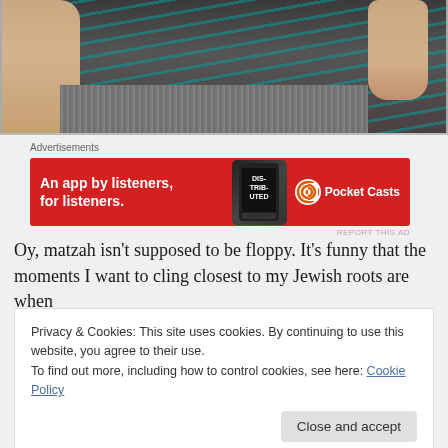[Figure (photo): Partial view of a child wearing a dark striped teal t-shirt, sitting on a carpet. Only the torso and arms are visible.]
Advertisements
[Figure (other): Pocket Casts advertisement banner. Red background with white bold text 'An app by listeners, for listeners.' and a phone graphic and Pocket Casts logo.]
REPORT THIS AD
Oy, matzah isn't supposed to be floppy. It's funny that the moments I want to cling closest to my Jewish roots are when
Privacy & Cookies: This site uses cookies. By continuing to use this website, you agree to their use.
To find out more, including how to control cookies, see here: Cookie Policy
Close and accept
continue to spiral outwards from this moment. There have